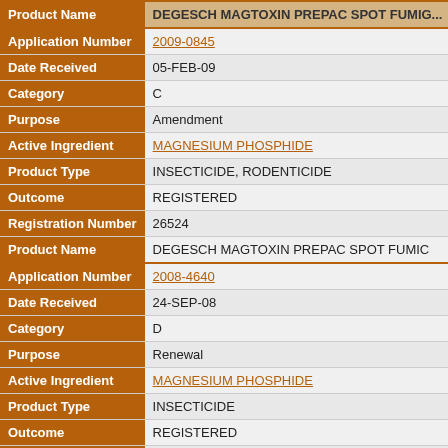| Field | Value |
| --- | --- |
| Product Name | DEGESCH MAGTOXIN PREPAC SPOT FUMIC... |
| Application Number | 2009-0845 |
| Date Received | 05-FEB-09 |
| Category | C |
| Purpose | Amendment |
| Active Ingredient | MAGNESIUM PHOSPHIDE |
| Product Type | INSECTICIDE, RODENTICIDE |
| Outcome | REGISTERED |
| Registration Number | 26524 |
| Product Name | DEGESCH MAGTOXIN PREPAC SPOT FUMIC... |
| Application Number | 2008-4640 |
| Date Received | 24-SEP-08 |
| Category | D |
| Purpose | Renewal |
| Active Ingredient | MAGNESIUM PHOSPHIDE |
| Product Type | INSECTICIDE |
| Outcome | REGISTERED |
| Registration Number | 25581 |
| Product Name | TECHNICAL GRADE MAGNESIUM PHOSPHID... |
| Application Number | 2008-4641 |
| Date Received | 24-SEP-08 |
| Category | D |